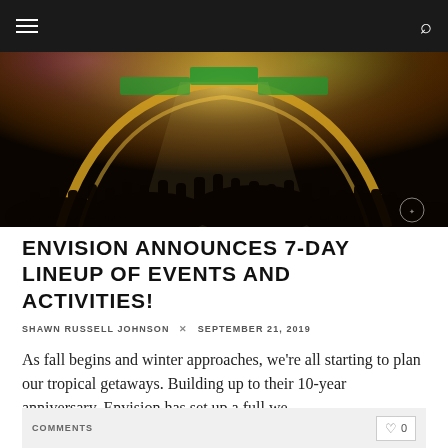Navigation bar with hamburger menu and search icon
[Figure (photo): Crowd of festival-goers at night lit by colorful stage lights — purple, green, and golden yellow — with an arched light display overhead.]
ENVISION ANNOUNCES 7-DAY LINEUP OF EVENTS AND ACTIVITIES!
SHAWN RUSSELL JOHNSON × SEPTEMBER 21, 2019
As fall begins and winter approaches, we're all starting to plan our tropical getaways. Building up to their 10-year anniversary, Envision has set up a full we...
READ MORE
ENVISION   FESTIVALS
COMMENTS   ♡ 0